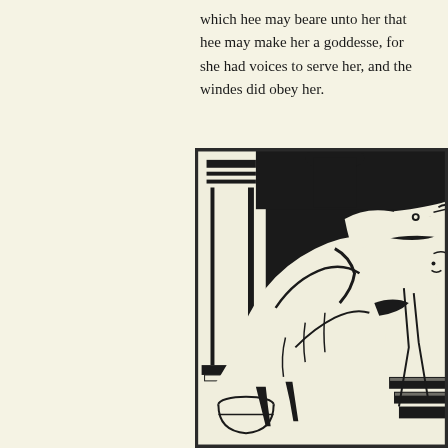which hee may beare unto her that hee may make her a goddesse, for she had voices to serve her, and the windes did obey her.
[Figure (illustration): A woodcut-style black and white illustration showing a mythological scene. A large animal figure (possibly a bull or beast) with an elongated snout faces right, with a human figure visible to the right side. Classical architectural column elements appear in the upper left background. The style is bold with heavy black areas and white highlights typical of woodblock printing.]